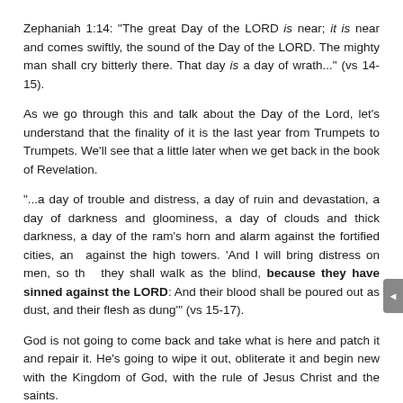Zephaniah 1:14: "The great Day of the LORD is near; it is near and comes swiftly, the sound of the Day of the LORD. The mighty man shall cry bitterly there. That day is a day of wrath..." (vs 14-15).
As we go through this and talk about the Day of the Lord, let's understand that the finality of it is the last year from Trumpets to Trumpets. We'll see that a little later when we get back in the book of Revelation.
"...a day of trouble and distress, a day of ruin and devastation, a day of darkness and gloominess, a day of clouds and thick darkness, a day of the ram's horn and alarm against the fortified cities, and against the high towers. 'And I will bring distress on men, so that they shall walk as the blind, because they have sinned against the LORD: And their blood shall be poured out as dust, and their flesh as dung'" (vs 15-17).
God is not going to come back and take what is here and patch it and repair it. He's going to wipe it out, obliterate it and begin new with the Kingdom of God, with the rule of Jesus Christ and the saints.
Verse 18: "Neither their silver nor their gold will be able to deliver them in the day of the LORD'S wrath; but the whole earth shall be devoured by the fire of His jealousy; for He shall make even a full